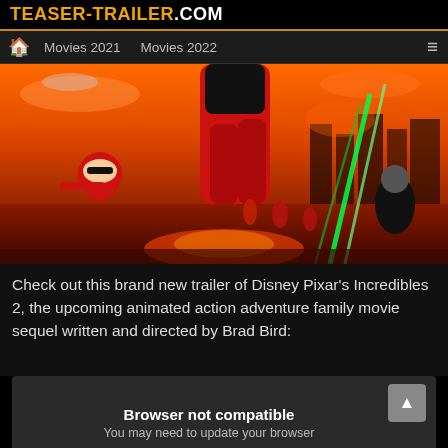TEASER-TRAILER.COM
Movies 2021    Movies 2022
[Figure (illustration): Promotional movie poster for Disney Pixar's Incredibles 2 showing superheroes in red suits running and fighting on a fiery orange cityscape background.]
Check out this brand new trailer of Disney Pixar's Incredibles 2, the upcoming animated action adventure family movie sequel written and directed by Brad Bird:
[Figure (screenshot): Video player area showing 'Browser not compatible — You may need to update your browser' error message with an arrow/back button in the top right corner.]